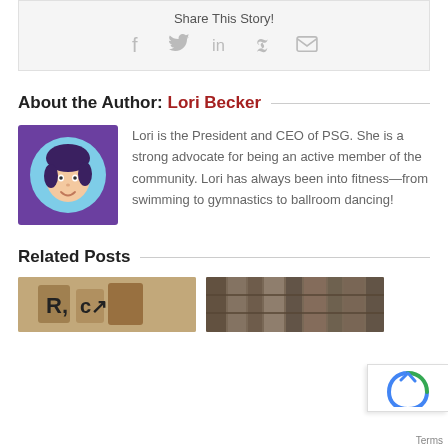Share This Story!
[Figure (infographic): Social share icons: Facebook, Twitter, LinkedIn, Pinterest, Email - all in light gray]
About the Author: Lori Becker
[Figure (illustration): Avatar illustration of Lori Becker: purple square background with a circular light-blue frame containing a cartoon face of a woman with dark hair]
Lori is the President and CEO of PSG. She is a strong advocate for being an active member of the community. Lori has always been into fitness—from swimming to gymnastics to ballroom dancing!
Related Posts
[Figure (photo): Thumbnail photo of wooden letter tiles showing letters R and C on a table]
[Figure (photo): Thumbnail photo of a blurred bookshelf/library background]